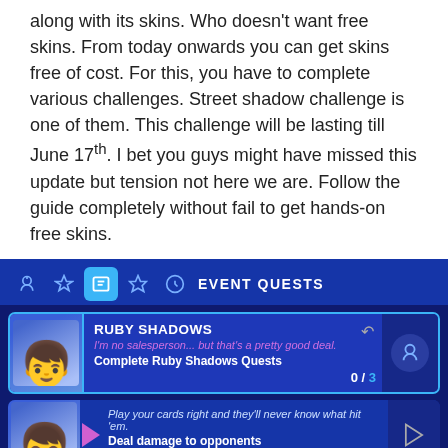along with its skins. Who doesn't want free skins. From today onwards you can get skins free of cost. For this, you have to complete various challenges. Street shadow challenge is one of them. This challenge will be lasting till June 17th. I bet you guys might have missed this update but tension not here we are. Follow the guide completely without fail to get hands-on free skins.
[Figure (screenshot): Fortnite game UI showing Event Quests screen with Ruby Shadows character. Tab bar at top with icons and 'EVENT QUESTS' label. Three quest cards visible: (1) Ruby Shadows - 'I'm no salesperson... but that's a pretty good deal.' / 'Complete Ruby Shadows Quests' - 0/3; (2) 'Play your cards right and they'll never know what hit 'em.' / 'Deal damage to opponents' - 0/1,000; (3) 'You don't always have to go it alone.' / 'Play with friends' - 0/5. Dark blue background with character avatar portraits on left of each card.]